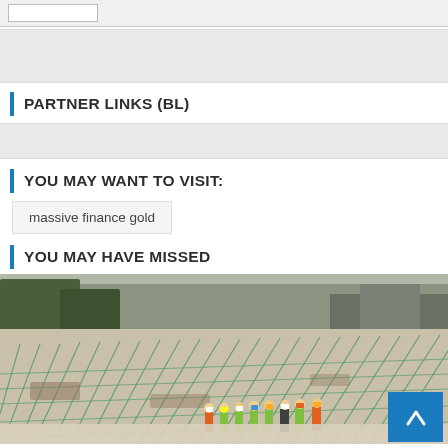PARTNER LINKS (BL)
YOU MAY WANT TO VISIT:
massive finance gold
YOU MAY HAVE MISSED
[Figure (photo): Aerial view of a large construction site with workers in safety vests and helmets standing on a concrete edge, overlooking rebar-reinforced foundation work.]